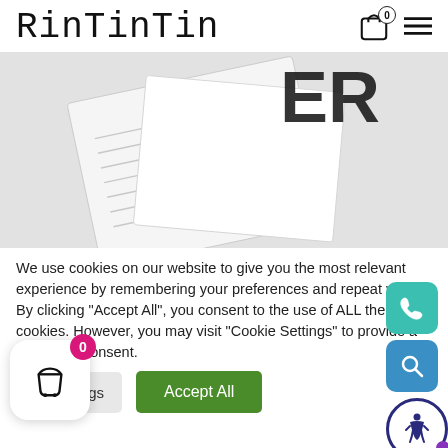RinTinTin
[Figure (photo): Close-up photo of white textured paper/letterhead with bold text 'ER' visible in top right corner, angled composition on white background]
We use cookies on our website to give you the most relevant experience by remembering your preferences and repeat visits. By clicking "Accept All", you consent to the use of ALL the cookies. However, you may visit "Cookie Settings" to provide a controlled consent.
Cookie Settings   Accept All